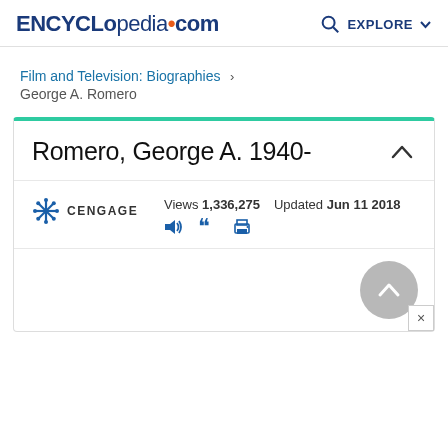ENCYCLopedia.com  EXPLORE
Film and Television: Biographies > George A. Romero
Romero, George A. 1940-
CENGAGE  Views 1,336,275  Updated Jun 11 2018